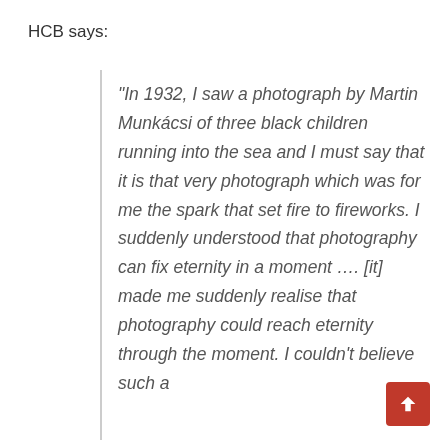HCB says:
“In 1932, I saw a photograph by Martin Munkácsi of three black children running into the sea and I must say that it is that very photograph which was for me the spark that set fire to fireworks. I suddenly understood that photography can fix eternity in a moment …. [it] made me suddenly realise that photography could reach eternity through the moment. I couldn’t believe such a